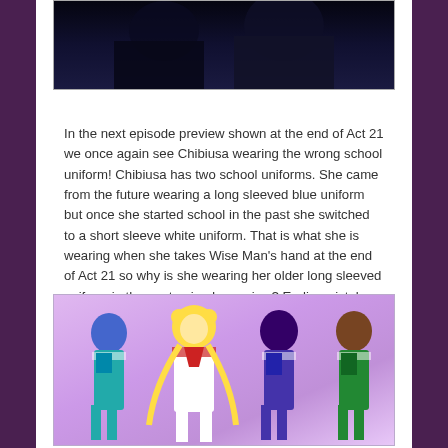[Figure (screenshot): Top portion of a screenshot showing dark background with anime characters, partially cropped at top]
In the next episode preview shown at the end of Act 21 we once again see Chibiusa wearing the wrong school uniform! Chibiusa has two school uniforms. She came from the future wearing a long sleeved blue uniform but once she started school in the past she switched to a short sleeve white uniform. That is what she is wearing when she takes Wise Man's hand at the end of Act 21 so why is she wearing her older long sleeved uniform in the next episode preview? Earlier mistakes with the uniform colour have been corrected between the next episode preview and the actual episode. It is expected that the same will occur here though we won't know for sure until Saturday.
[Figure (screenshot): Screenshot showing four Sailor Moon anime characters standing against a pink/purple gradient background]